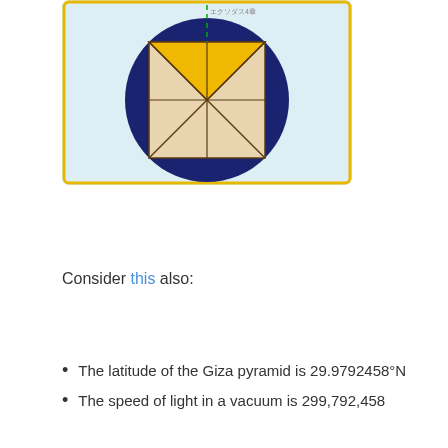[Figure (illustration): Geometric diagram showing a square inscribed in a circle, with diagonals drawn creating triangular sections. The upper triangles are filled with golden/yellow color and the lower triangles with a light tan/beige color. A dashed green vertical line marks the center. The circle is dark navy blue and the square has a golden border. The whole figure has a light blue background with a yellow border.]
Consider this also:
The latitude of the Giza pyramid is 29.9792458°N
The speed of light in a vacuum is 299,792,458